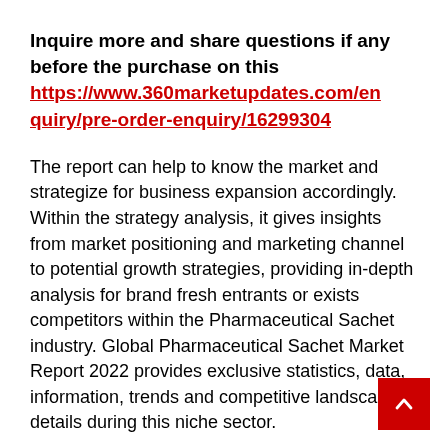Inquire more and share questions if any before the purchase on this https://www.360marketupdates.com/enquiry/pre-order-enquiry/16299304
The report can help to know the market and strategize for business expansion accordingly. Within the strategy analysis, it gives insights from market positioning and marketing channel to potential growth strategies, providing in-depth analysis for brand fresh entrants or exists competitors within the Pharmaceutical Sachet industry. Global Pharmaceutical Sachet Market Report 2022 provides exclusive statistics, data, information, trends and competitive landscape details during this niche sector.